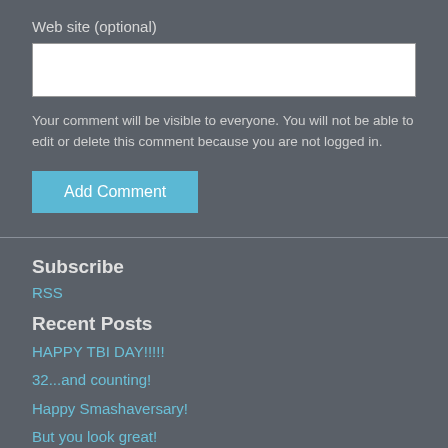Web site (optional)
Your comment will be visible to everyone. You will not be able to edit or delete this comment because you are not logged in.
Add Comment
Subscribe
RSS
Recent Posts
HAPPY TBI DAY!!!!!
32...and counting!
Happy Smashaversary!
But you look great!
A shift
Summer Love
I <3 TW
3 hours in a car
[Figure (logo): reCAPTCHA badge with circular arrow logo and Privacy/Terms links]